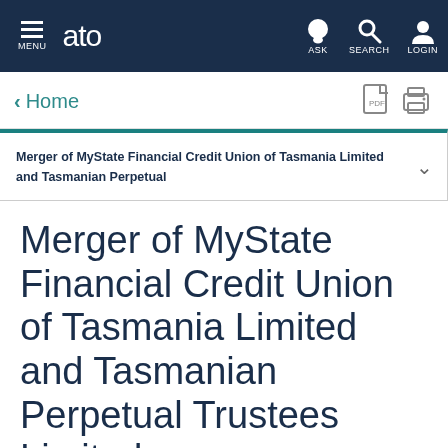MENU | ato | ASK | SEARCH | LOGIN
< Home
Merger of MyState Financial Credit Union of Tasmania Limited and Tasmanian Perpetual
Merger of MyState Financial Credit Union of Tasmania Limited and Tasmanian Perpetual Trustees Limited
Overview
This...